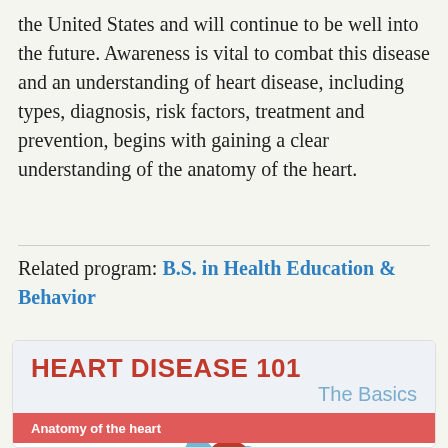the United States and will continue to be well into the future. Awareness is vital to combat this disease and an understanding of heart disease, including types, diagnosis, risk factors, treatment and prevention, begins with gaining a clear understanding of the anatomy of the heart.
Related program: B.S. in Health Education & Behavior
[Figure (infographic): Heart Disease 101 - The Basics infographic showing anatomy of the heart with a heart illustration, left text about the heart being a muscular organ functioning as a pump, and right text about The cardiovascular system being a complex network of arteries that transports blood to the organs, tissues and cells of the body.]